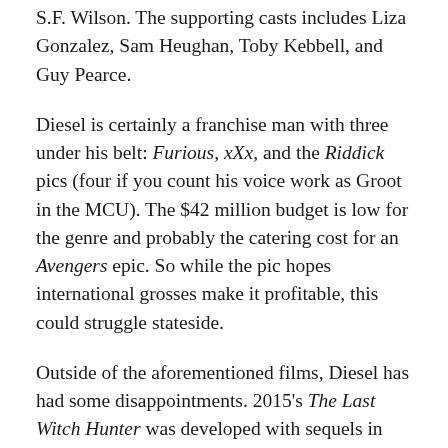S.F. Wilson. The supporting casts includes Liza Gonzalez, Sam Heughan, Toby Kebbell, and Guy Pearce.
Diesel is certainly a franchise man with three under his belt: Furious, xXx, and the Riddick pics (four if you count his voice work as Groot in the MCU). The $42 million budget is low for the genre and probably the catering cost for an Avengers epic. So while the pic hopes international grosses make it profitable, this could struggle stateside.
Outside of the aforementioned films, Diesel has had some disappointments. 2015's The Last Witch Hunter was developed with sequels in mind, but sputtered with just under $11 million for